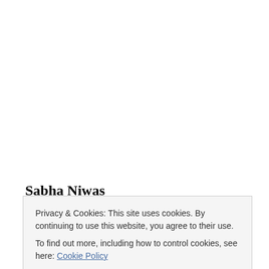Sabha Niwas
This hall is also known as Diwan-i-Aam. It has witnessed
Privacy & Cookies: This site uses cookies. By continuing to use this website, you agree to their use. To find out more, including how to control cookies, see here: Cookie Policy
allowed inside the hall. I was able to capture the two